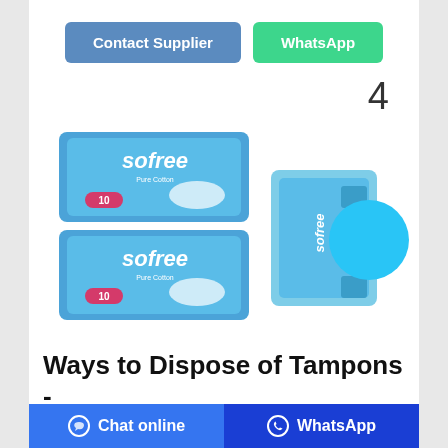[Figure (other): Two blue buttons: 'Contact Supplier' (steel blue) and 'WhatsApp' (green)]
4
[Figure (photo): Two stacked Sofree Pure Cotton sanitary pad packages (blue) on the left, one smaller Sofree package in the center-right, and a cyan circle on the far right.]
Ways to Dispose of Tampons -
Chat online   WhatsApp